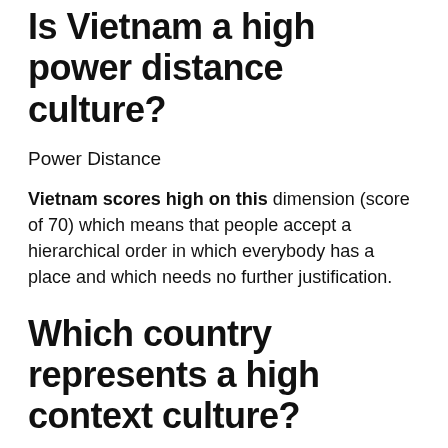Is Vietnam a high power distance culture?
Power Distance
Vietnam scores high on this dimension (score of 70) which means that people accept a hierarchical order in which everybody has a place and which needs no further justification.
Which country represents a high context culture?
High-context cultures will use communication that focuses on underlying context, meaning, and tone in the message, and not just the words themselves. Countries